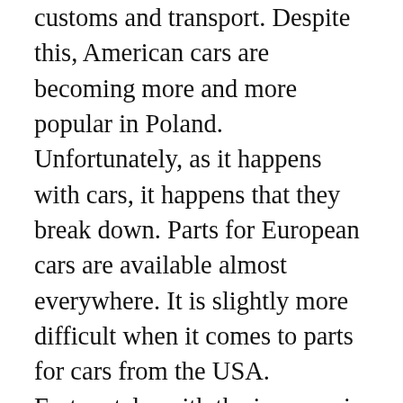customs and transport. Despite this, American cars are becoming more and more popular in Poland. Unfortunately, as it happens with cars, it happens that they break down. Parts for European cars are available almost everywhere. It is slightly more difficult when it comes to parts for cars from the USA. Fortunately, with the increase in demand for American cars is also growing to provide spare parts for them. There are more and more companies on the market that deal with the distribution of car parts from the USA. Before buying in such a company, however, it is worth taking a look at it more closely.